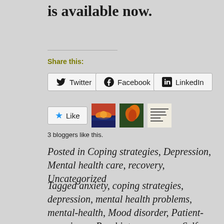is available now.
Share this:
Twitter
Facebook
LinkedIn
[Figure (other): Like button with star icon and 3 blogger thumbnails]
3 bloggers like this.
Posted in Coping strategies, Depression, Mental health care, recovery, Uncategorized
Tagged anxiety, coping strategies, depression, mental health problems, mental-health, Mood disorder, Patient-experience, Psychiatry, recovery, Self-care